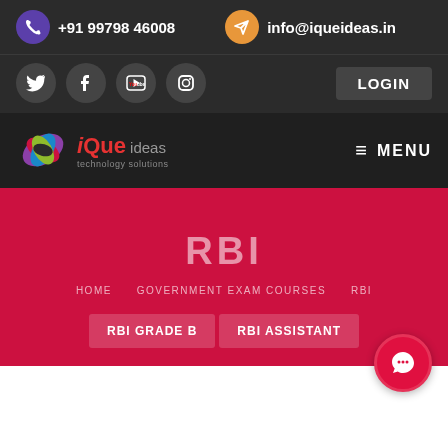+91 99798 46008
info@iqueideas.in
LOGIN
[Figure (logo): iQue Ideas logo with colorful wing/leaf shape and text 'iQue ideas' with tagline]
≡ MENU
RBI
HOME   GOVERNMENT EXAM COURSES   RBI
RBI GRADE B
RBI ASSISTANT